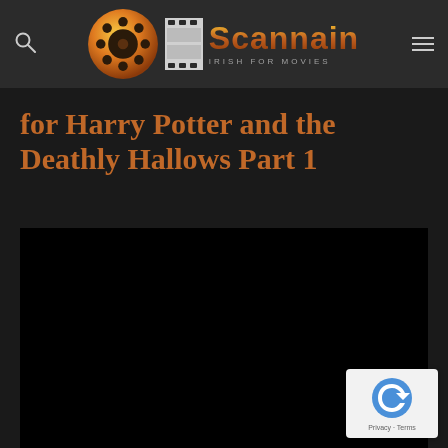Scannain — IRISH FOR MOVIES
for Harry Potter and the Deathly Hallows Part 1
[Figure (screenshot): Black video player embed area]
[Figure (logo): Google reCAPTCHA badge with Privacy and Terms links]